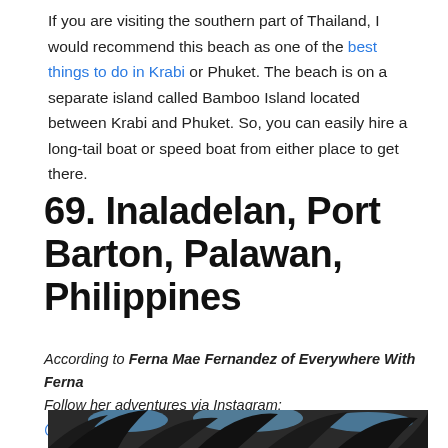If you are visiting the southern part of Thailand, I would recommend this beach as one of the best things to do in Krabi or Phuket. The beach is on a separate island called Bamboo Island located between Krabi and Phuket. So, you can easily hire a long-tail boat or speed boat from either place to get there.
69. Inaladelan, Port Barton, Palawan, Philippines
According to Ferna Mae Fernandez of Everywhere With Ferna
Follow her adventures via Instagram: @Everywherewithferna
[Figure (photo): Photo of palm tree canopy with dark silhouetted fronds against a bright blue sky]